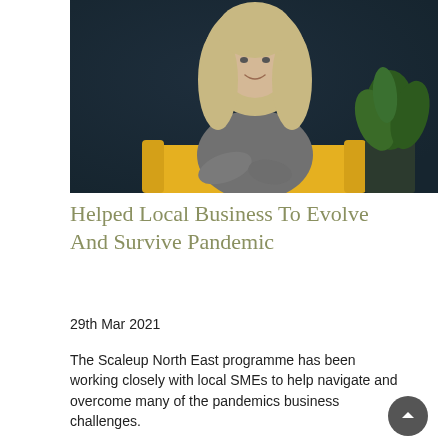[Figure (photo): Woman with blonde hair sitting on a yellow sofa, smiling, wearing a grey knit top, with a dark teal background and a green plant to the right.]
Helped Local Business To Evolve And Survive Pandemic
29th Mar 2021
The Scaleup North East programme has been working closely with local SMEs to help navigate and overcome many of the pandemics business challenges.